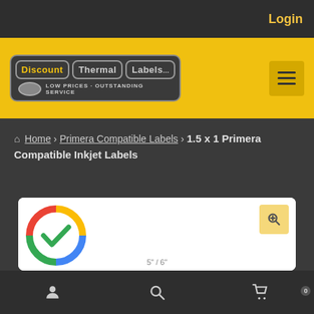Login
[Figure (logo): Discount Thermal Labels logo with tagline LOW PRICES - OUTSTANDING SERVICE]
Home › Primera Compatible Labels › 1.5 x 1 Primera Compatible Inkjet Labels
[Figure (photo): Product image area showing a Google-colored checkmark circle icon and a zoom/search button, with dimension label 5"/6"]
User account icon | Search icon | Cart icon with 0 badge